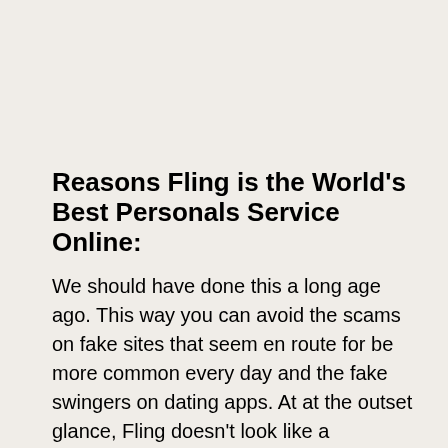Reasons Fling is the World's Best Personals Service Online:
We should have done this a long age ago. This way you can avoid the scams on fake sites that seem en route for be more common every day and the fake swingers on dating apps. At at the outset glance, Fling doesn't look like a acceptable dating site because it has very sexy women on its home page and central pages. That's where the couple announces a meeting in a public place, like a park, and the wife gives blowjobs en route for strangers from the comfort